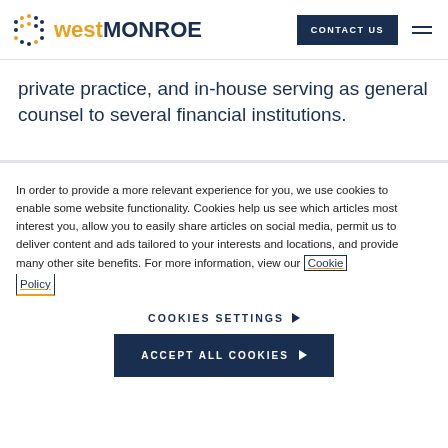West Monroe | CONTACT US
private practice, and in-house serving as general counsel to several financial institutions.
In order to provide a more relevant experience for you, we use cookies to enable some website functionality. Cookies help us see which articles most interest you, allow you to easily share articles on social media, permit us to deliver content and ads tailored to your interests and locations, and provide many other site benefits. For more information, view our Cookie Policy
COOKIES SETTINGS
ACCEPT ALL COOKIES